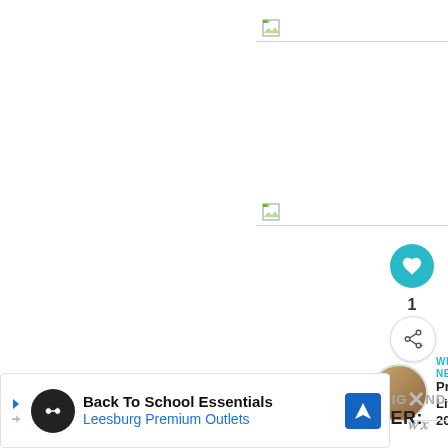[Figure (photo): Broken image placeholder at top of page, white background with small image icon and gray border line]
[Figure (photo): Broken image placeholder in middle of page, white background with small image icon and gray border line]
[Figure (other): Teal circular heart/like button showing heart icon]
1
[Figure (other): White circular share/add button with share icon]
WHAT'S NEXT → Project Life 2013
FILED UNDER:
[Figure (other): Advertisement banner: Back To School Essentials - Leesburg Premium Outlets with navigation icon, infinity logo, skip arrow and close X]
Back To School Essentials
Leesburg Premium Outlets